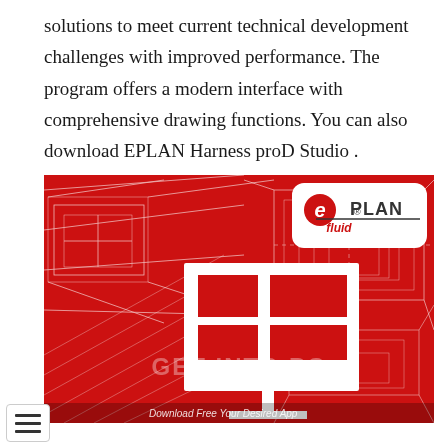solutions to meet current technical development challenges with improved performance. The program offers a modern interface with comprehensive drawing functions. You can also download EPLAN Harness proD Studio .
[Figure (screenshot): EPLAN Fluid software promotional banner image. Red background with white geometric line drawings resembling schematic/engineering diagrams in perspective. A white EPLAN icon (square with grid pattern and stand) is centered. EPLAN fluid logo in top-right corner in a white rounded rectangle. Watermark text 'GET INTO PC' in center. Caption at bottom: 'Download Free Your Desired App'.]